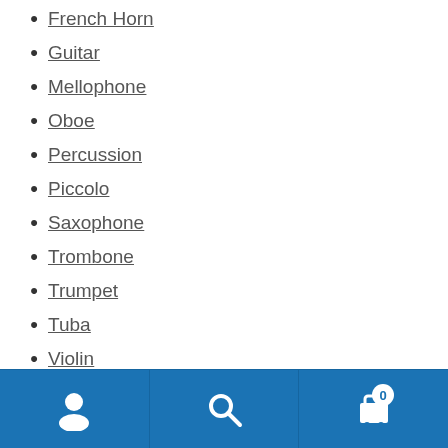French Horn
Guitar
Mellophone
Oboe
Percussion
Piccolo
Saxophone
Trombone
Trumpet
Tuba
Violin
Welcome Students! Please call us at (717) 957-2775, or send email to: HornHospitalLLC@Gmail.com for questions. We Want to Help You Make Great Music!!!
Dismiss
Navigation bar with account, search, and cart (0) icons